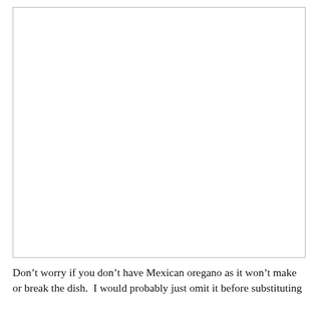[Figure (photo): Large image area, mostly blank/white with a thin border, appears to be a placeholder or image region for a food-related photo.]
Don’t worry if you don’t have Mexican oregano as it won’t make or break the dish.  I would probably just omit it before substituting